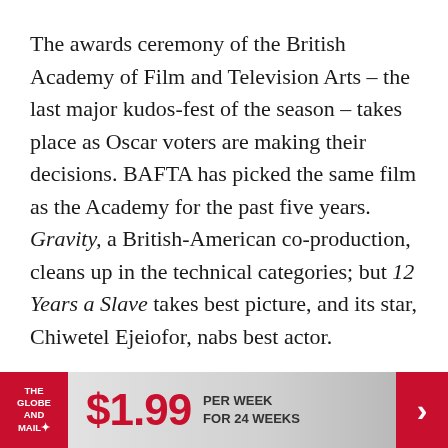The awards ceremony of the British Academy of Film and Television Arts – the last major kudos-fest of the season – takes place as Oscar voters are making their decisions. BAFTA has picked the same film as the Academy for the past five years. Gravity, a British-American co-production, cleans up in the technical categories; but 12 Years a Slave takes best picture, and its star, Chiwetel Ejeiofor, nabs best actor.
Staying warm: 12 Years A Slave appears to have held its first-place status, and serves as a reminder to Academy voters of a film that, released back in October, deserves their attention.
[Figure (other): Advertisement banner for The Globe and Mail subscription: $1.99 per week for 24 weeks]